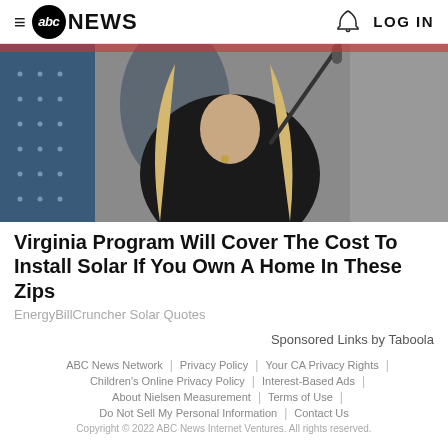≡ abc NEWS | LOG IN
[Figure (photo): Woman in black top seated near a microphone, with solar panels visible on the left side]
Virginia Program Will Cover The Cost To Install Solar If You Own A Home In These Zips
EnergyBillCruncher Solar Quotes
Sponsored Links by Taboola
ABC News Network | Privacy Policy | Your CA Privacy Rights | Children's Online Privacy Policy | Interest-Based Ads | About Nielsen Measurement | Terms of Use | Do Not Sell My Personal Information | Contact Us
Copyright © 2022 ABC News Internet Ventures. All rights reserved.